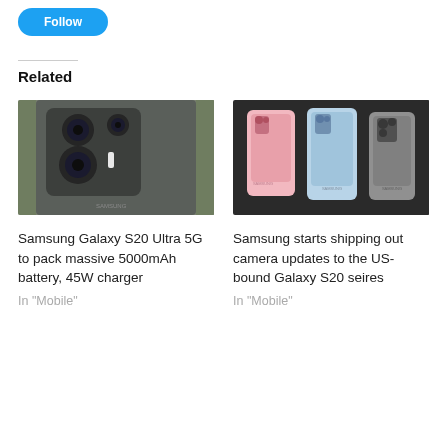[Figure (screenshot): Blue button (social share or follow button) partially visible at top left]
[Figure (photo): Close-up photo of the back of a Samsung Galaxy S20 Ultra 5G showing the large camera module with multiple lenses on a grey/dark background with green foliage visible]
Samsung Galaxy S20 Ultra 5G to pack massive 5000mAh battery, 45W charger
In "Mobile"
[Figure (photo): Three Samsung Galaxy S20 phones side by side showing back panels in pink, light blue, and grey/silver colors on a dark background]
Samsung starts shipping out camera updates to the US-bound Galaxy S20 seires
In "Mobile"